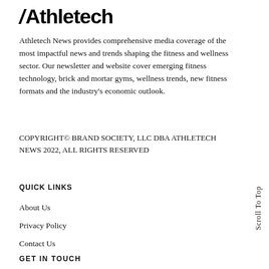Athletech
Athletech News provides comprehensive media coverage of the most impactful news and trends shaping the fitness and wellness sector. Our newsletter and website cover emerging fitness technology, brick and mortar gyms, wellness trends, new fitness formats and the industry's economic outlook.
COPYRIGHT© BRAND SOCIETY, LLC DBA ATHLETECH NEWS 2022, ALL RIGHTS RESERVED
QUICK LINKS
About Us
Privacy Policy
Contact Us
GET IN TOUCH
Scroll To Top